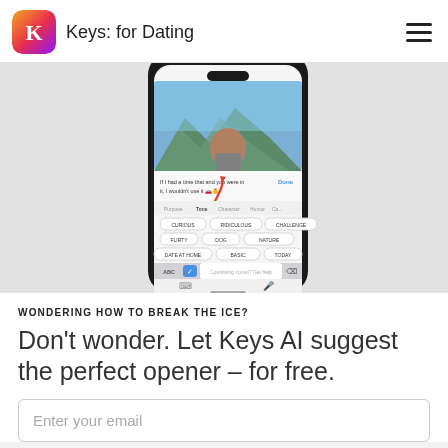Keys: for Dating
[Figure (screenshot): iPhone screenshot of the Keys for Dating app showing a dating profile with a woman in front of mountains, and an AI keyboard with suggested openers including CURIOUS, RIDICULOUS, CHALLENGE, FLIRTY, DOG, NATURE, DATE AT HOME, BASIC, TODAY. Text shown: 'If I had a time that and you were in it, I wouldn't use it 🚗👶'. A red arrow points to the message field. Done button visible.]
WONDERING HOW TO BREAK THE ICE?
Don't wonder. Let Keys AI suggest the perfect opener – for free.
Enter your email